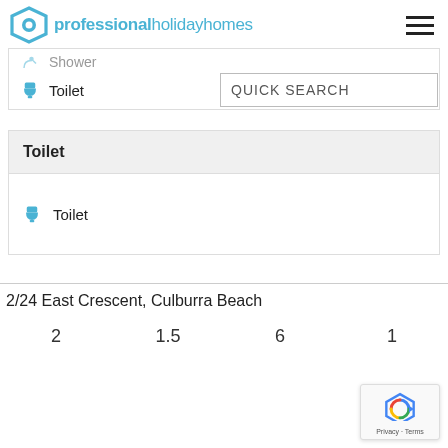professional holiday homes
Shower
Toilet
QUICK SEARCH
| Toilet |
| --- |
| Toilet |
2/24 East Crescent, Culburra Beach
2    1.5    6    1